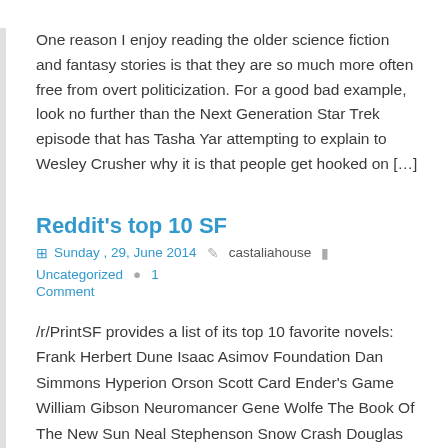One reason I enjoy reading the older science fiction and fantasy stories is that they are so much more often free from overt politicization. For a good bad example, look no further than the Next Generation Star Trek episode that has Tasha Yar attempting to explain to Wesley Crusher why it is that people get hooked on […]
Reddit's top 10 SF
Sunday , 29, June 2014   castaliahouse   Uncategorized   1 Comment
/r/PrintSF provides a list of its top 10 favorite novels: Frank Herbert Dune Isaac Asimov Foundation Dan Simmons Hyperion Orson Scott Card Ender's Game William Gibson Neuromancer Gene Wolfe The Book Of The New Sun Neal Stephenson Snow Crash Douglas Adams The Hitchhiker's Guide To The Galaxy